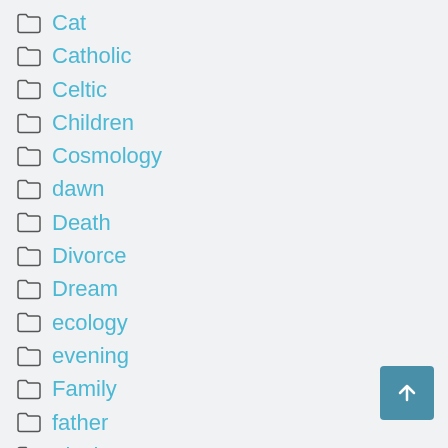Cat
Catholic
Celtic
Children
Cosmology
dawn
Death
Divorce
Dream
ecology
evening
Family
father
Flash Prose
Florida
Food